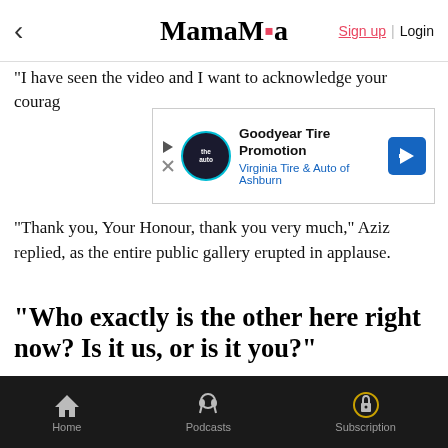MamaMia — Sign up | Login
"I have seen the video and I want to acknowledge your courag…
[Figure (other): Advertisement banner for Goodyear Tire Promotion by Virginia Tire & Auto of Ashburn]
"Thank you, Your Honour, thank you very much," Aziz replied, as the entire public gallery erupted in applause.
"Who exactly is the other here right now? Is it us, or is it you?"
Outside proceedings, victims, family members, support workers and police mingled and chatted, showing the sense of community that they have built and often referred to in statements.
Encouragingly, after giving their contributions, victims oft…
Home | Podcasts | Subscription